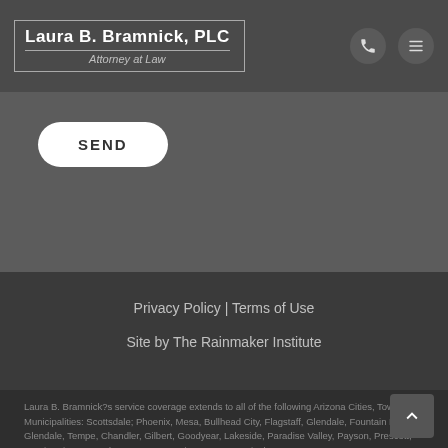Laura B. Bramnick, PLC — Attorney at Law
SEND
Privacy Policy | Terms of Use
Site by The Rainmaker Institute
Laura B. Bramnick?s service coverage extends to all of the following Arizona Cities, Towns and Municipalities: Scottsdale; Phoenix, Mesa, Bullhead City, Flagstaff, Glendale, Fountain Hills, Glendale, Tempe, Chandler, Gilbert, Goodyear, Lakeside, Paradise Valley, Payson, Prescott, Peoria, Pinetop, Sedona, Tucson, Maricopa County, Pinal